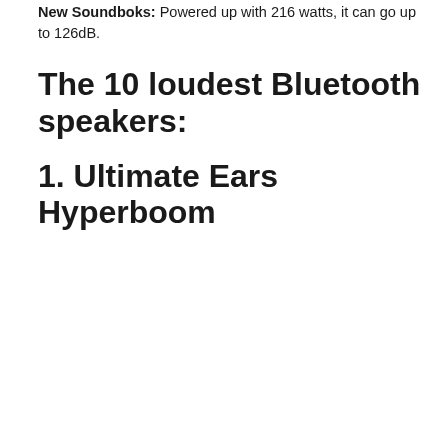New Soundboks: Powered up with 216 watts, it can go up to 126dB.
The 10 loudest Bluetooth speakers:
1. Ultimate Ears Hyperboom